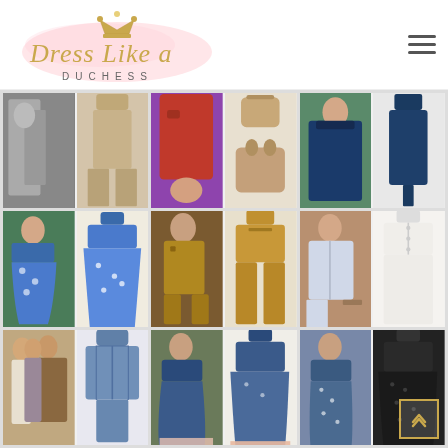[Figure (logo): Dress Like a Duchess logo with gold crown, cursive script in gold/brown, subtitle DUCHESS in spaced caps, pink watercolor wash background]
[Figure (photo): 3x3 grid of fashion blog thumbnail images: row 1: black-and-white vintage photo with wide-leg pants product; red coat with purple dress and tan handbag accessories; navy ruffled dress woman seated and navy jumpsuit product. Row 2: woman in blue floral midi dress and blue floral dress product; woman in mustard utility jumpsuit and mustard jumpsuit product; woman in blue chambray shirt dress and white/cream shirt dress product. Row 3: couple with woman in navy outfit and blue patterned blouse product; woman in navy floral dress and navy A-line dress with pink hem product; woman in blue polka dot dress and black dotted maxi dress product.]
[Figure (other): Back to top arrow button with gold border in bottom right corner of page]